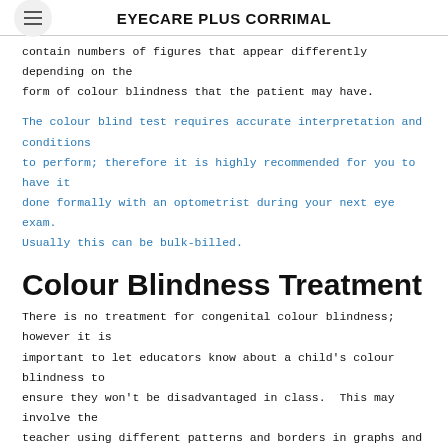EYECARE PLUS CORRIMAL
contain numbers of figures that appear differently depending on the form of colour blindness that the patient may have.
The colour blind test requires accurate interpretation and conditions to perform; therefore it is highly recommended for you to have it done formally with an optometrist during your next eye exam. Usually this can be bulk-billed.
Colour Blindness Treatment
There is no treatment for congenital colour blindness; however it is important to let educators know about a child's colour blindness to ensure they won't be disadvantaged in class.  This may involve the teacher using different patterns and borders in graphs and figures to highlight separate groups of data rather than using colours.
For acquired forms of colour blindness, it may be treated by